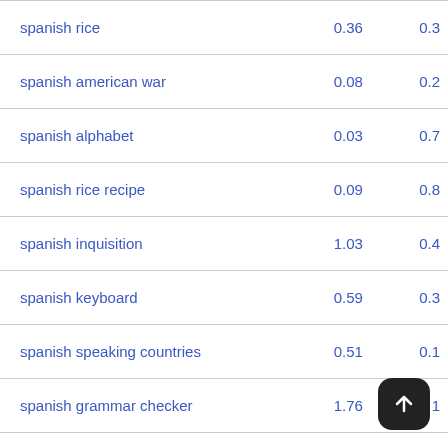| spanish rice | 0.36 | 0.3 |
| spanish american war | 0.08 | 0.2 |
| spanish alphabet | 0.03 | 0.7 |
| spanish rice recipe | 0.09 | 0.8 |
| spanish inquisition | 1.03 | 0.4 |
| spanish keyboard | 0.59 | 0.3 |
| spanish speaking countries | 0.51 | 0.1 |
| spanish grammar checker | 1.76 | 1 |
| spanish fly | 0.03 | 0.1 |